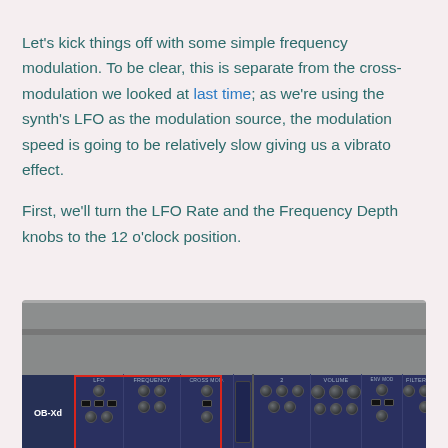Let's kick things off with some simple frequency modulation. To be clear, this is separate from the cross-modulation we looked at last time; as we're using the synth's LFO as the modulation source, the modulation speed is going to be relatively slow giving us a vibrato effect.
First, we'll turn the LFO Rate and the Frequency Depth knobs to the 12 o'clock position.
[Figure (screenshot): Screenshot of the OB-Xd synthesizer plugin interface showing the LFO and Frequency Depth section highlighted with a red rectangle border, set against a dark blue panel with knobs and controls visible.]